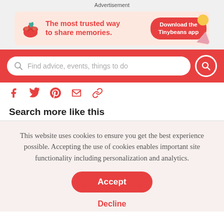Advertisement
[Figure (illustration): Tinybeans advertisement banner: cherry/plant logo on left, red text 'The most trusted way to share memories.' and a red pill button 'Download the Tinybeans app' on right with colorful decorative shapes.]
[Figure (infographic): Red search bar with placeholder text 'Find advice, events, things to do' and a red circular search button on the right.]
[Figure (infographic): Row of 5 social sharing icons in red: Facebook, Twitter, Pinterest, Email, Link.]
Search more like this
This website uses cookies to ensure you get the best experience possible. Accepting the use of cookies enables important site functionality including personalization and analytics.
Accept
Decline